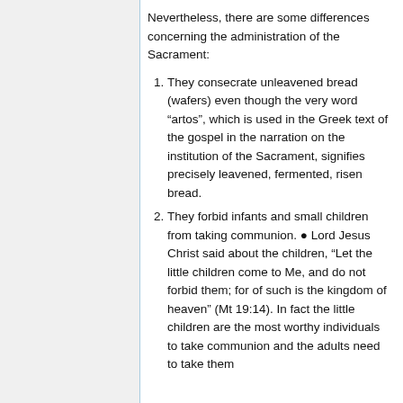Nevertheless, there are some differences concerning the administration of the Sacrament:
They consecrate unleavened bread (wafers) even though the very word “artos”, which is used in the Greek text of the gospel in the narration on the institution of the Sacrament, signifies precisely leavened, fermented, risen bread.
They forbid infants and small children from taking communion. ● Lord Jesus Christ said about the children, “Let the little children come to Me, and do not forbid them; for of such is the kingdom of heaven” (Mt 19:14). In fact the little children are the most worthy individuals to take communion and the adults need to take them